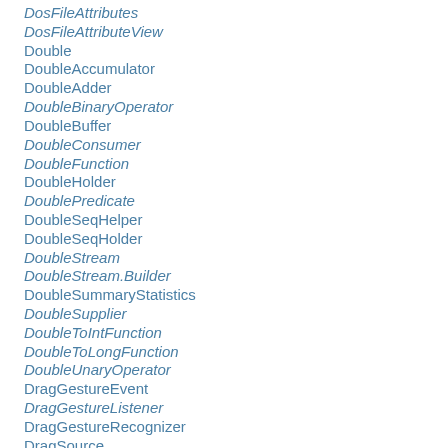DosFileAttributes
DosFileAttributeView
Double
DoubleAccumulator
DoubleAdder
DoubleBinaryOperator
DoubleBuffer
DoubleConsumer
DoubleFunction
DoubleHolder
DoublePredicate
DoubleSeqHelper
DoubleSeqHolder
DoubleStream
DoubleStream.Builder
DoubleSummaryStatistics
DoubleSupplier
DoubleToIntFunction
DoubleToLongFunction
DoubleUnaryOperator
DragGestureEvent
DragGestureListener
DragGestureRecognizer
DragSource
DragSourceAdapter
DragSourceContext
DragSourceDragEvent
DragSourceDropEvent